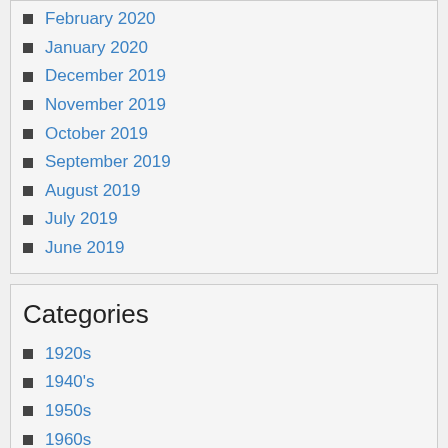February 2020
January 2020
December 2019
November 2019
October 2019
September 2019
August 2019
July 2019
June 2019
Categories
1920s
1940's
1950s
1960s
1963's
1970s
1978's
40's
50's
60's
70's